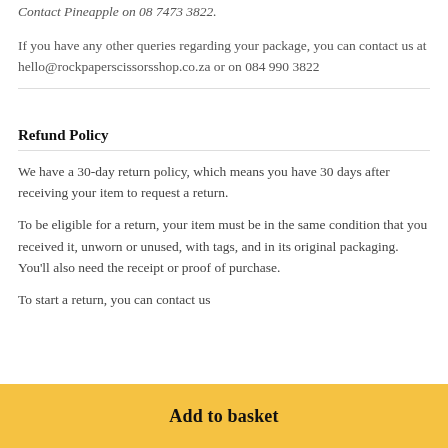Contact Pineapple on 08 7473 3822.
If you have any other queries regarding your package, you can contact us at hello@rockpaperscissorsshop.co.za or on 084 990 3822
Refund Policy
We have a 30-day return policy, which means you have 30 days after receiving your item to request a return.
To be eligible for a return, your item must be in the same condition that you received it, unworn or unused, with tags, and in its original packaging. You'll also need the receipt or proof of purchase.
To start a return, you can contact us by...
Add to basket